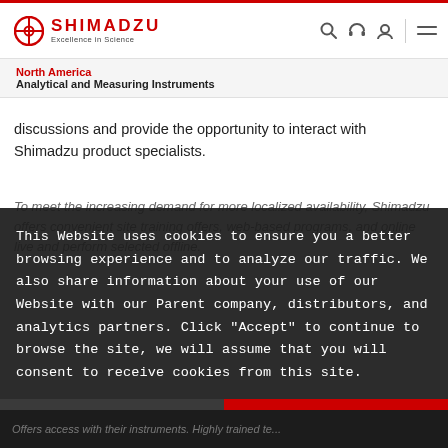SHIMADZU Excellence in Science
North America
Analytical and Measuring Instruments
discussions and provide the opportunity to interact with Shimadzu product specialists.
To meet the increasing demand for more localized availability, Shimadzu offers convenient site training offers, web-based programs, and online live and perform selected offline...
This Website uses cookies to ensure you a better browsing experience and to analyze our traffic. We also share information about your use of our Website with our Parent company, distributors, and analytics partners. Click "Accept" to continue to browse the site, we will assume that you will consent to receive cookies from this site.
More Information
Accept
Offers access with their instruments. Highly trained te...